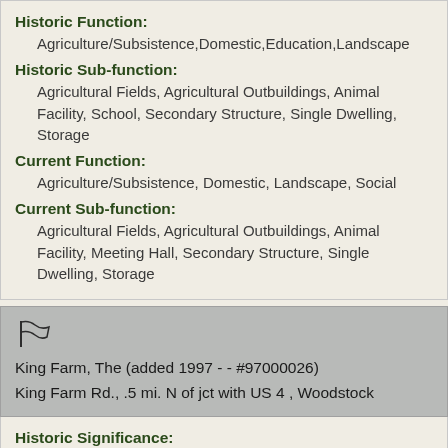Historic Function:
Agriculture/Subsistence,Domestic,Education,Landscape
Historic Sub-function:
Agricultural Fields, Agricultural Outbuildings, Animal Facility, School, Secondary Structure, Single Dwelling, Storage
Current Function:
Agriculture/Subsistence, Domestic, Landscape, Social
Current Sub-function:
Agricultural Fields, Agricultural Outbuildings, Animal Facility, Meeting Hall, Secondary Structure, Single Dwelling, Storage
King Farm, The (added 1997 - - #97000026)
King Farm Rd., .5 mi. N of jct with US 4 , Woodstock
Historic Significance:
Architecture/Engineering, Event